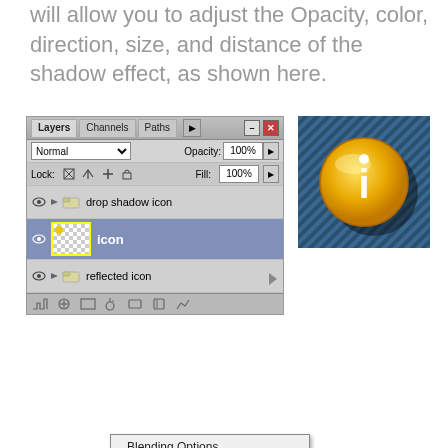will allow you to adjust the Opacity, color, direction, size, and distance of the shadow effect, as shown here.
[Figure (screenshot): Photoshop Layers panel showing 'drop shadow icon' group with 'icon' layer selected, 'reflected icon' group below, and a context menu open with Blending Options, Drop Shadow (highlighted), Inner Shadow, Outer Glow, Inner Glow, Bevel and Emboss, Satin options. A cursor arrow points at Drop Shadow menu item.]
[Figure (screenshot): An 'i' information icon on a blue diagonal striped background, showing a gold circular button with white letter i, and a drop shadow effect.]